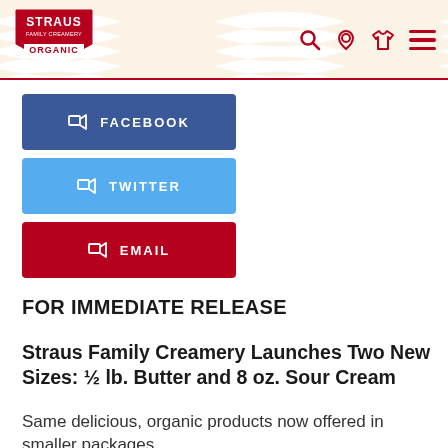Straus Family Creamery Organic — navigation header
[Figure (logo): Straus Family Creamery Organic logo — red shield with white text]
FACEBOOK
TWITTER
EMAIL
FOR IMMEDIATE RELEASE
Straus Family Creamery Launches Two New Sizes: ½ lb. Butter and 8 oz. Sour Cream
Same delicious, organic products now offered in smaller packages